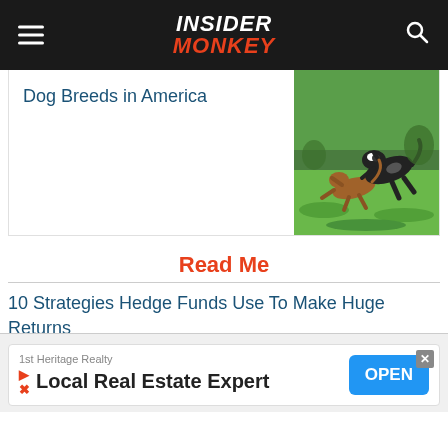INSIDER MONKEY
Dog Breeds in America
[Figure (photo): Two dogs playing/running on grass outdoors]
Read Me
10 Strategies Hedge Funds Use To Make Huge Returns
5 Best Poker Books For Beginners
15 Highest Grossing Movies Opening Weekend...
[Figure (screenshot): Advertisement overlay: 1st Heritage Realty - Local Real Estate Expert - OPEN button]
10 Best Places To Visit In Canada